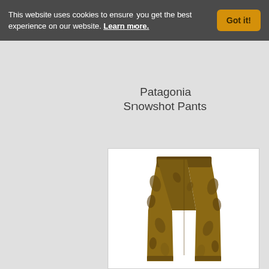This website uses cookies to ensure you get the best experience on our website. Learn more.
Got it!
Patagonia Snowshot Pants
[Figure (photo): Photo of Patagonia Snowshot Pants in a brown/tan camouflage leaf pattern, displayed flat against a white background]